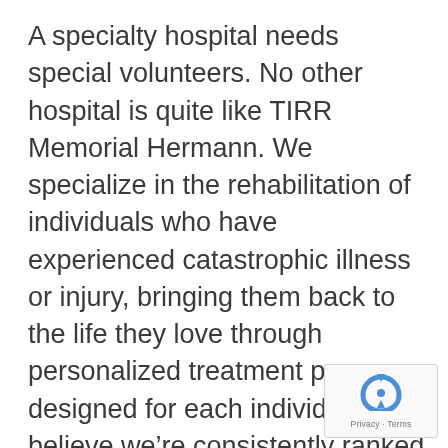A specialty hospital needs special volunteers. No other hospital is quite like TIRR Memorial Hermann. We specialize in the rehabilitation of individuals who have experienced catastrophic illness or injury, bringing them back to the life they love through personalized treatment programs designed for each individual. We believe we’re consistently ranked as a top rehabilitation hospital because of people like you.
[Figure (other): reCAPTCHA widget with recycling-arrow icon and Privacy · Terms text]